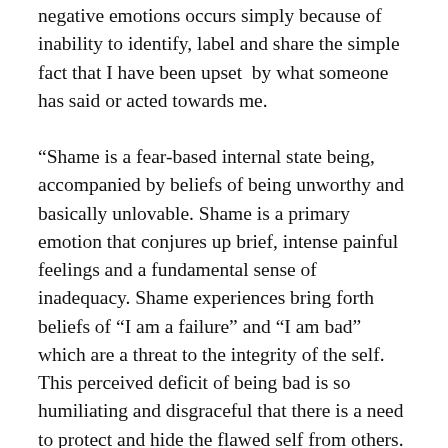negative emotions occurs simply because of inability to identify, label and share the simple fact that I have been upset  by what someone has said or acted towards me.
“Shame is a fear-based internal state being, accompanied by beliefs of being unworthy and basically unlovable. Shame is a primary emotion that conjures up brief, intense painful feelings and a fundamental sense of inadequacy. Shame experiences bring forth beliefs of “I am a failure” and “I am bad” which are a threat to the integrity of the self. This perceived deficit of being bad is so humiliating and disgraceful that there is a need to protect and hide the flawed self from others. Fears of